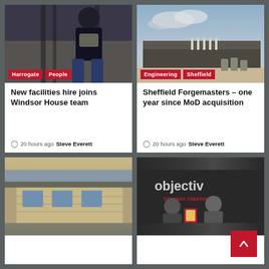[Figure (photo): Woman in dark top and jeans standing by iron railings outdoors]
Harrogate  People
New facilities hire joins Windsor House team
20 hours ago  Steve Everett
[Figure (photo): Architectural rendering of Sheffield Forgemasters industrial building]
Engineering  Sheffield
Sheffield Forgemasters – one year since MoD acquisition
20 hours ago  Steve Everett
[Figure (photo): Exterior of a house with stone facade and windows]
[Figure (photo): Two men standing in front of an 'objective' branded backdrop with text 'Strategy, Creative & Digital']